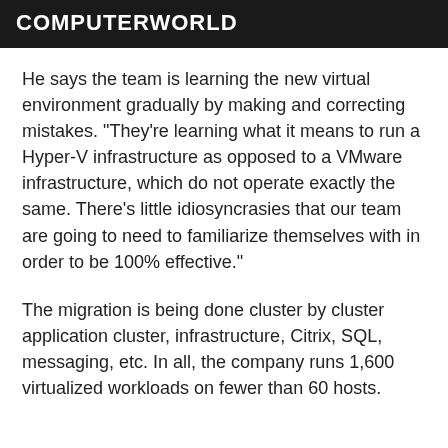COMPUTERWORLD
He says the team is learning the new virtual environment gradually by making and correcting mistakes. "They're learning what it means to run a Hyper-V infrastructure as opposed to a VMware infrastructure, which do not operate exactly the same. There's little idiosyncrasies that our team are going to need to familiarize themselves with in order to be 100% effective."
The migration is being done cluster by cluster application cluster, infrastructure, Citrix, SQL, messaging, etc. In all, the company runs 1,600 virtualized workloads on fewer than 60 hosts.